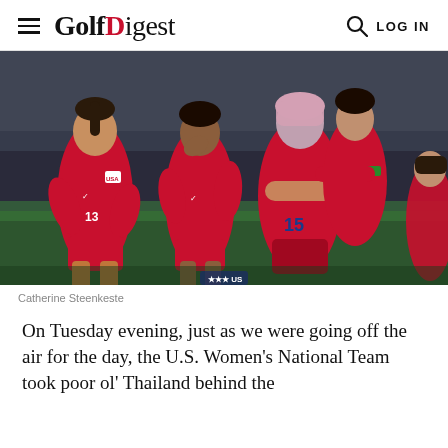Golf Digest  LOG IN
[Figure (photo): U.S. Women's National Soccer Team players celebrating in red jerseys, one player wearing number 15, with pink hair visible, hugging and celebrating on the field. Photo by Catherine Steenkeste.]
Catherine Steenkeste
On Tuesday evening, just as we were going off the air for the day, the U.S. Women's National Team took poor ol' Thailand behind the